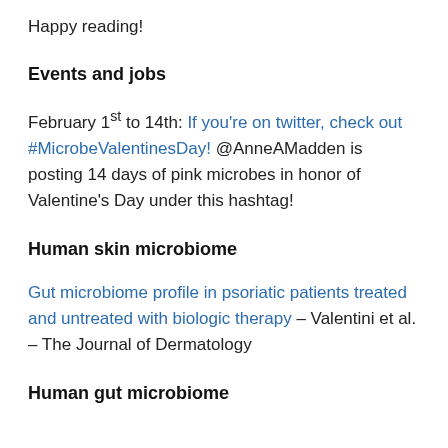Happy reading!
Events and jobs
February 1st to 14th: If you're on twitter, check out #MicrobeValentinesDay! @AnneAMadden is posting 14 days of pink microbes in honor of Valentine's Day under this hashtag!
Human skin microbiome
Gut microbiome profile in psoriatic patients treated and untreated with biologic therapy – Valentini et al. – The Journal of Dermatology
Human gut microbiome